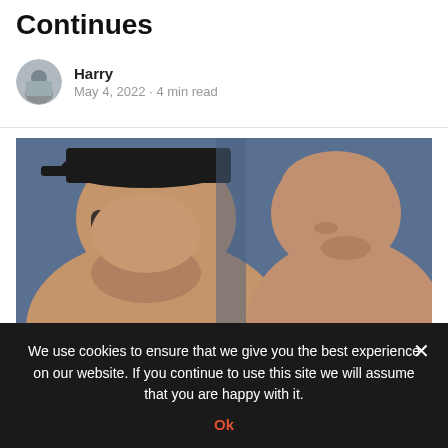Continues
Harry
May 4, 2022 · 4 min read
[Figure (photo): Two men facing each other in close-up, one wearing a black cap and glasses on the left, another bald man on the right, against a blue background — likely football managers Jurgen Klopp and Pep Guardiola.]
Manchester City vs
We use cookies to ensure that we give you the best experience on our website. If you continue to use this site we will assume that you are happy with it.
Ok